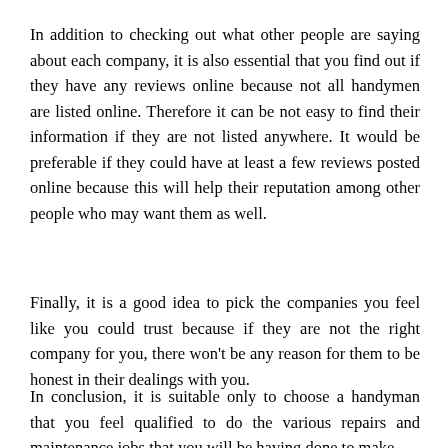In addition to checking out what other people are saying about each company, it is also essential that you find out if they have any reviews online because not all handymen are listed online. Therefore it can be not easy to find their information if they are not listed anywhere. It would be preferable if they could have at least a few reviews posted online because this will help their reputation among other people who may want them as well.
Finally, it is a good idea to pick the companies you feel like you could trust because if they are not the right company for you, there won't be any reason for them to be honest in their dealings with you.
In conclusion, it is suitable only to choose a handyman that you feel qualified to do the various repairs and maintenance jobs that you will be having done to make